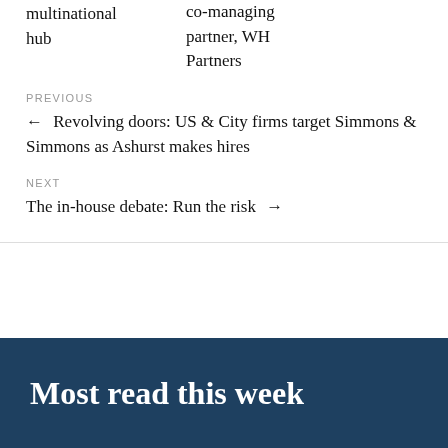multinational hub
co-managing partner, WH Partners
PREVIOUS
← Revolving doors: US & City firms target Simmons & Simmons as Ashurst makes hires
NEXT
The in-house debate: Run the risk →
Most read this week